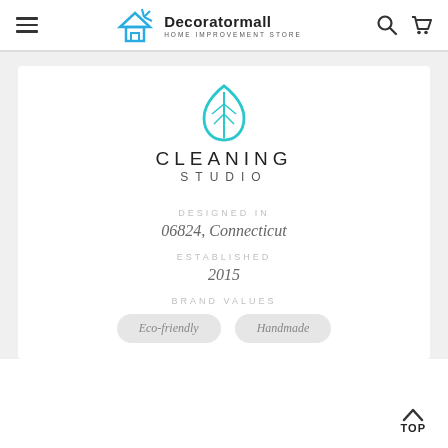Decoratormall HOME IMPROVEMENT STORE
[Figure (logo): Cleaning Studio brand logo: cyan/teal leaf outline above text 'CLEANING STUDIO' in spaced sans-serif capitals]
DESIGNED IN
06824, Connecticut
ESTABLISHED
2015
BRAND VALUES
Eco-friendly
Handmade